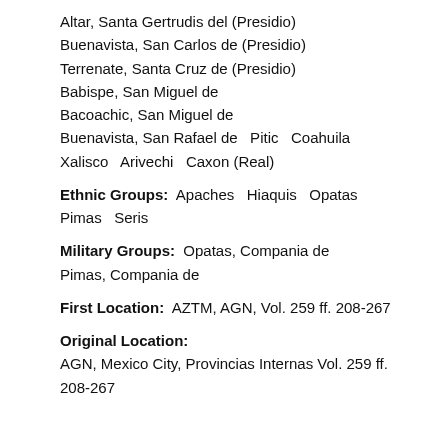Altar, Santa Gertrudis del (Presidio)
Buenavista, San Carlos de (Presidio)
Terrenate, Santa Cruz de (Presidio)
Babispe, San Miguel de
Bacoachic, San Miguel de
Buenavista, San Rafael de   Pitic   Coahuila
Xalisco   Arivechi   Caxon (Real)
Ethnic Groups:  Apaches   Hiaquis   Opatas   Pimas   Seris
Military Groups:  Opatas, Compania de   Pimas, Compania de
First Location:  AZTM, AGN, Vol. 259 ff. 208-267
Original Location:  AGN, Mexico City, Provincias Internas Vol. 259 ff. 208-267